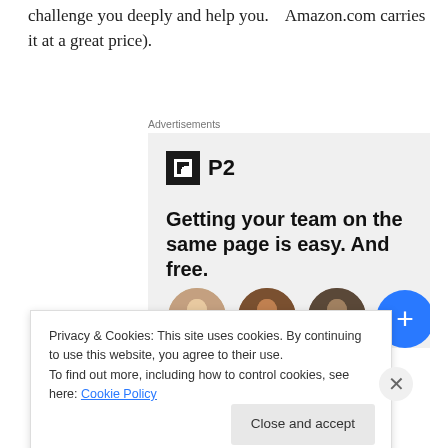challenge you deeply and help you.    Amazon.com carries it at a great price).
[Figure (infographic): Advertisement box for P2 product. Shows P2 logo (black square icon with 'P2' text), tagline 'Getting your team on the same page is easy. And free.' and three circular avatar photos plus a blue circle with a plus sign.]
Privacy & Cookies: This site uses cookies. By continuing to use this website, you agree to their use.
To find out more, including how to control cookies, see here: Cookie Policy
Close and accept